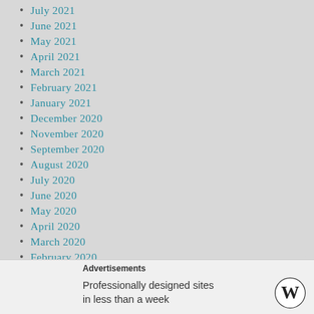July 2021
June 2021
May 2021
April 2021
March 2021
February 2021
January 2021
December 2020
November 2020
September 2020
August 2020
July 2020
June 2020
May 2020
April 2020
March 2020
February 2020
January 2020
December 2019
November 2019
October 2019
Advertisements
Professionally designed sites in less than a week